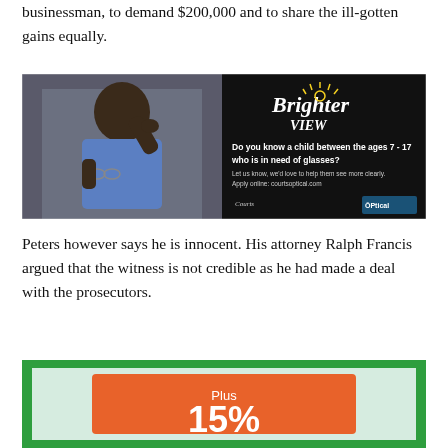businessman, to demand $200,000 and to share the ill-gotten gains equally.
[Figure (photo): Advertisement for Brighter View optical program. Left side shows a young Black boy in a blue school shirt holding glasses. Right side on black background shows the Brighter View logo and text: 'Do you know a child between the ages 7 - 17 who is in need of glasses? Let us know, we'd love to help them see more clearly. Apply online: courtsoptical.com' with logos for courts optical.]
Peters however says he is innocent. His attorney Ralph Francis argued that the witness is not credible as he had made a deal with the prosecutors.
[Figure (photo): Advertisement with green background and light blue inner box containing an orange rectangle with white text 'Plus 15%']